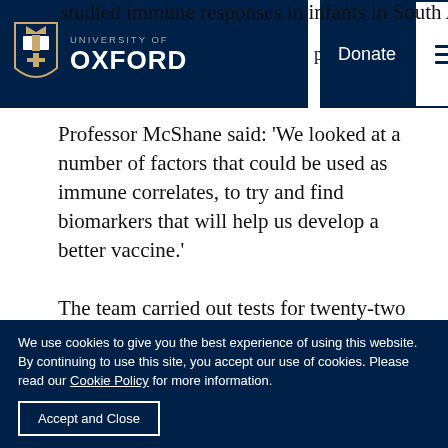studied immune responses in infants in South Africa part in a TB vaccine t
Professor McShane said: 'We looked at a number of factors that could be used as immune correlates, to try and find biomarkers that will help us develop a better vaccine.'
The team carried out tests for twenty-two possible factors. One – levels of activated HLA-DR+CD4+ T-cells – was linked to higher TB disease risk. Meanwhile, BCG-specific Interferon-gamma secreting T-cells indicated lower TB risk, with higher levels of
We use cookies to give you the best experience of using this website. By continuing to use this site, you accept our use of cookies. Please read our Cookie Policy for more information.
Accept and Close